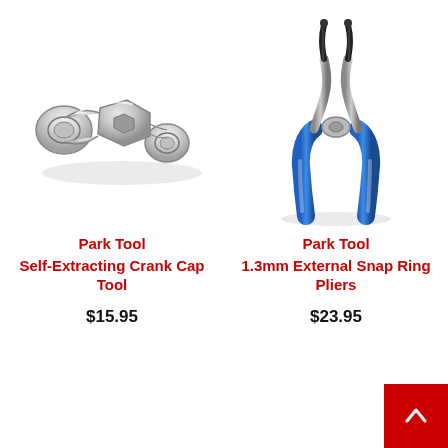[Figure (photo): Park Tool Self-Extracting Crank Cap Tool - silver metal tool with hexagonal center and two circular ends]
Park Tool
Self-Extracting Crank Cap Tool
$15.95
[Figure (photo): Park Tool 1.3mm External Snap Ring Pliers - pliers with blue handles]
Park Tool
1.3mm External Snap Ring Pliers
$23.95